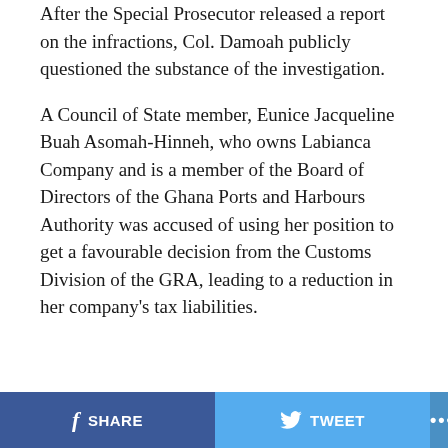After the Special Prosecutor released a report on the infractions, Col. Damoah publicly questioned the substance of the investigation.
A Council of State member, Eunice Jacqueline Buah Asomah-Hinneh, who owns Labianca Company and is a member of the Board of Directors of the Ghana Ports and Harbours Authority was accused of using her position to get a favourable decision from the Customs Division of the GRA, leading to a reduction in her company's tax liabilities.
SHARE  TWEET  ...